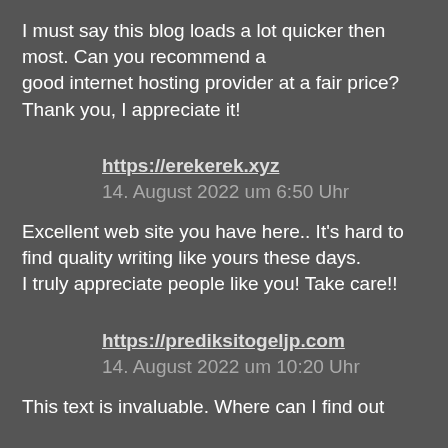I must say this blog loads a lot quicker then most. Can you recommend a good internet hosting provider at a fair price? Thank you, I appreciate it!
https://erekerek.xyz
14. August 2022 um 6:50 Uhr
Excellent web site you have here.. It's hard to find quality writing like yours these days. I truly appreciate people like you! Take care!!
https://prediksitogeljp.com
14. August 2022 um 10:20 Uhr
This text is invaluable. Where can I find out